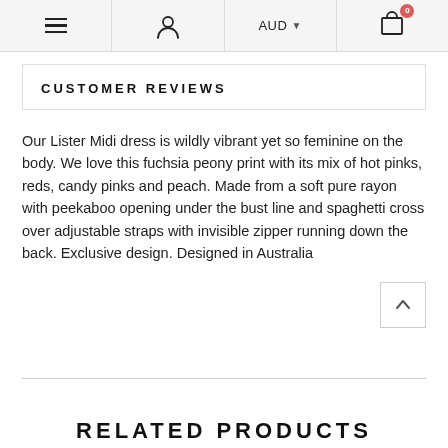≡  👤  AUD  🛒 0
CUSTOMER REVIEWS
Our Lister Midi dress is wildly vibrant yet so feminine on the body. We love this fuchsia peony print with its mix of hot pinks, reds, candy pinks and peach. Made from a soft pure rayon with peekaboo opening under the bust line and spaghetti cross over adjustable straps with invisible zipper running down the back. Exclusive design. Designed in Australia
RELATED PRODUCTS